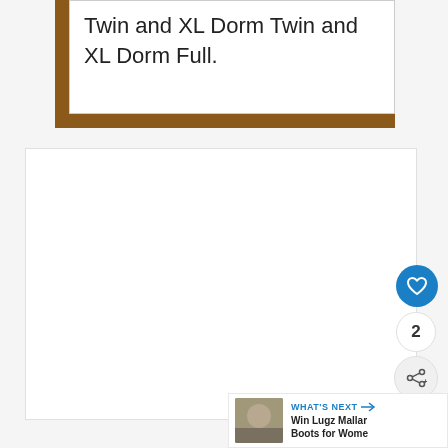Twin and XL Dorm Twin and XL Dorm Full.
[Figure (other): White card area with dot pagination indicators and social action buttons (heart/like, share count badge, share icon). A 'What's Next' panel shows a thumbnail and text 'Win Lugz Mallar... Boots for Wome...']